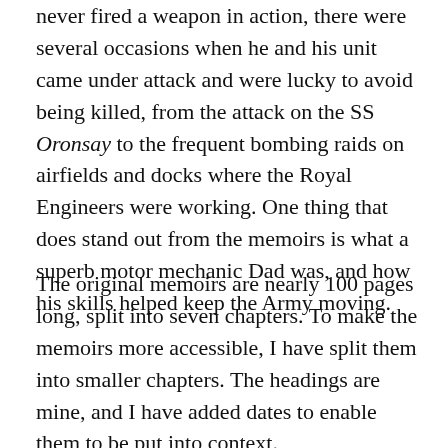never fired a weapon in action, there were several occasions when he and his unit came under attack and were lucky to avoid being killed, from the attack on the SS Oronsay to the frequent bombing raids on airfields and docks where the Royal Engineers were working. One thing that does stand out from the memoirs is what a superb motor mechanic Dad was, and how his skills helped keep the Army moving.
The original memoirs are nearly 100 pages long, split into seven chapters. To make the memoirs more accessible, I have split them into smaller chapters. The headings are mine, and I have added dates to enable them to be put into context.